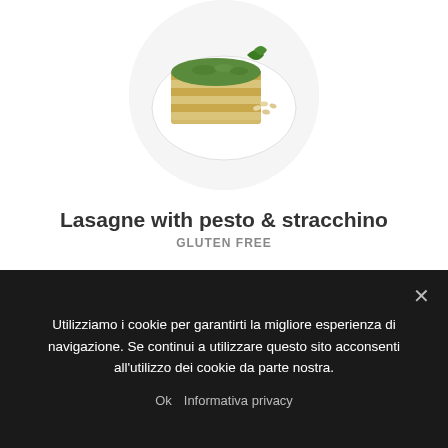[Figure (photo): Circular cropped photo of lasagne with pesto and stracchino on a white plate with pine nuts]
Lasagne with pesto & stracchino
GLUTEN FREE
READ MORE
[Figure (photo): Partial view of a second dish image, circular cropped, peeking from the bottom]
Utilizziamo i cookie per garantirti la migliore esperienza di navigazione. Se continui a utilizzare questo sito acconsenti all'utilizzo dei cookie da parte nostra.
Ok  Informativa privacy